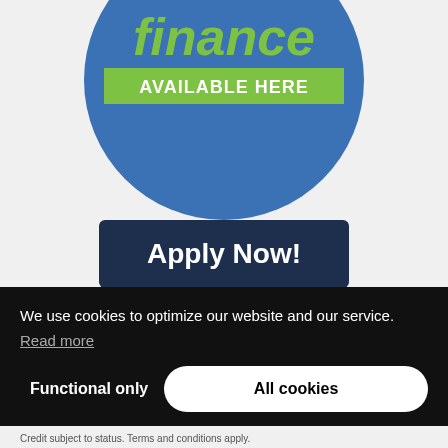[Figure (illustration): Blue circular badge/sticker with text 'finance' in green italic letters and 'AVAILABLE HERE' on a green banner strip, partially cropped at the top of the page]
[Figure (other): Dark navy blue rectangular button with white bold text 'Apply Now!']
We use cookies to optimize our website and our service.
Read more
Functional only
All cookies
Credit subject to status. Terms and conditions apply.